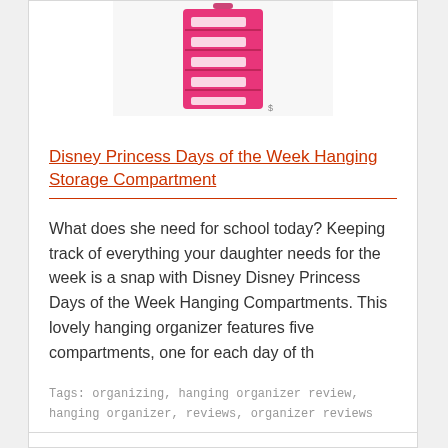[Figure (photo): Pink Disney Princess Days of the Week Hanging Storage Compartment organizer, vertical with multiple shelves/drawers]
Disney Princess Days of the Week Hanging Storage Compartment
What does she need for school today? Keeping track of everything your daughter needs for the week is a snap with Disney Disney Princess Days of the Week Hanging Compartments. This lovely hanging organizer features five compartments, one for each day of th
Tags: organizing, hanging organizer review, hanging organizer, reviews, organizer reviews